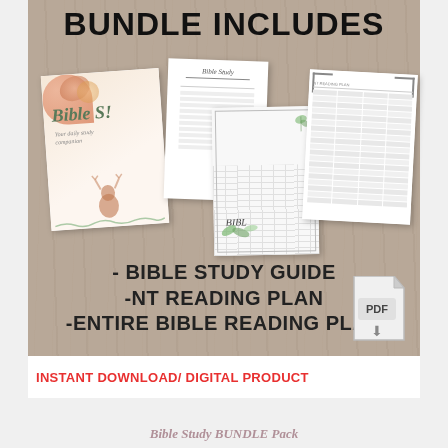[Figure (illustration): Product bundle promotional image on wood-grain background showing preview cards of Bible Study Guide, NT Reading Plan, and Entire Bible Reading Plan with bold title text 'BUNDLE INCLUDES' and bullet list of contents. Includes PDF icon and 'INSTANT DOWNLOAD / DIGITAL PRODUCT' banner.]
Bible Study BUNDLE Pack